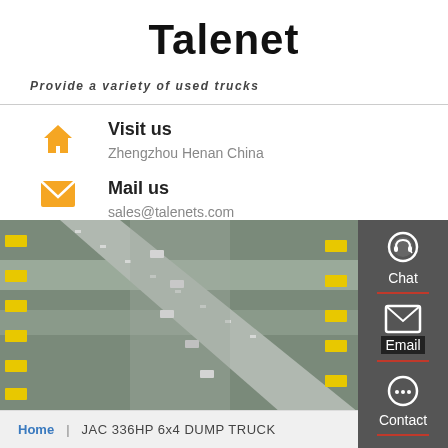Talenet
Provide a variety of used trucks
Visit us
Zhengzhou Henan China
Mail us
sales@talenets.com
[Figure (screenshot): Aerial photograph of a truck logistics yard with yellow trucks and gray roadways]
[Figure (infographic): Dark gray side panel with Chat, Email, Contact, and Top navigation buttons with icons]
Home | JAC 336HP 6x4 DUMP TRUCK